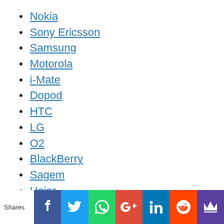Nokia
Sony Ericsson
Samsung
Motorola
i-Mate
Dopod
HTC
LG
O2
BlackBerry
Sagem
Haier
palmOne